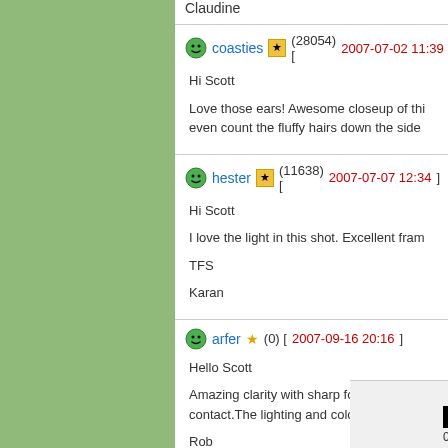Claudine
coasties (28054) [2007-07-02 11:39]
Hi Scott

Love those ears! Awesome closeup of thi even count the fluffy hairs down the side
hester (11638) [2007-07-07 12:34]
Hi Scott

I love the light in this shot. Excellent fram

TFS

Karan
arfer (0) [2007-09-16 20:16]
Hello Scott

Amazing clarity with sharp focus and det contact.The lighting and colours are well

Rob
Cal